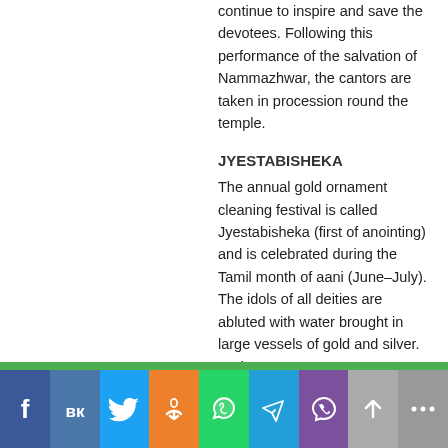continue to inspire and save the devotees. Following this performance of the salvation of Nammazhwar, the cantors are taken in procession round the temple.
JYESTABISHEKA
The annual gold ornament cleaning festival is called Jyestabisheka (first of anointing) and is celebrated during the Tamil month of aani (June–July). The idols of all deities are abluted with water brought in large vessels of gold and silver.
Brahmotsavam
Brahmotsavam (Prime festival) is held during the Tamil month of Panguni (March–April). The preliminaries like ankurapuranam, rakshabandanam, bherira thanam, dhrajarohanam and the sacrificial offerings in the yagasala are gone through as usual. The processions go round the Chitrai street in the evenings. On the second day, the deity is taken to a garden inside the temple. The
[Figure (other): Social media share buttons: Facebook, VK, Twitter, Odnoklassniki, WhatsApp, Telegram, Viber, scroll-up, and more buttons in a horizontal bar at the bottom of the page, with a green separator bar above.]